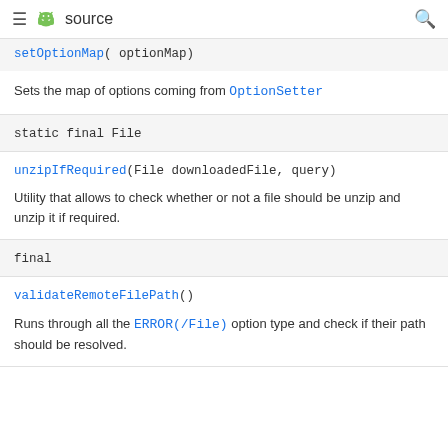≡ [android] source [search]
setOptionMap( optionMap)
Sets the map of options coming from OptionSetter
static final File
unzipIfRequired(File downloadedFile, query)
Utility that allows to check whether or not a file should be unzip and unzip it if required.
final
validateRemoteFilePath()
Runs through all the ERROR(/File) option type and check if their path should be resolved.